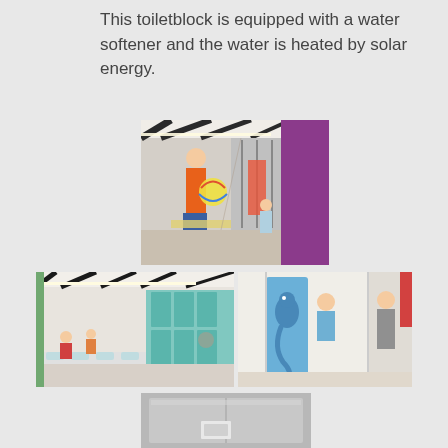This toiletblock is equipped with a water softener and the water is heated by solar energy.
[Figure (photo): Interior of toilet block showing a woman in orange top with a beach ball, children in shower cubicles with colourful purple panels]
[Figure (photo): Interior corridor of toilet block with teal lockers and children at sinks]
[Figure (photo): Shower area with a seahorse-decorated board and a child and adult near showers with red towel]
[Figure (photo): Close-up of grey metal panel or appliance, partially visible at bottom of page]